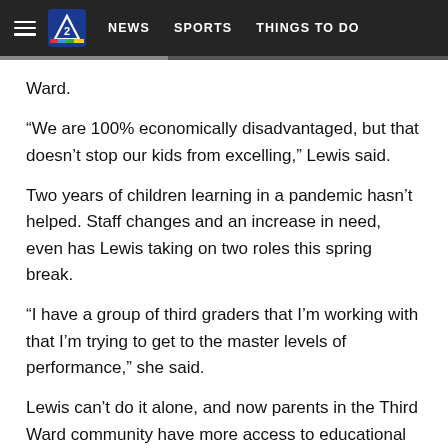NEWS  SPORTS  THINGS TO DO
Ward.
“We are 100% economically disadvantaged, but that doesn’t stop our kids from excelling,” Lewis said.
Two years of children learning in a pandemic hasn’t helped. Staff changes and an increase in need, even has Lewis taking on two roles this spring break.
“I have a group of third graders that I’m working with that I’m trying to get to the master levels of performance,” she said.
Lewis can’t do it alone, and now parents in the Third Ward community have more access to educational childcare.